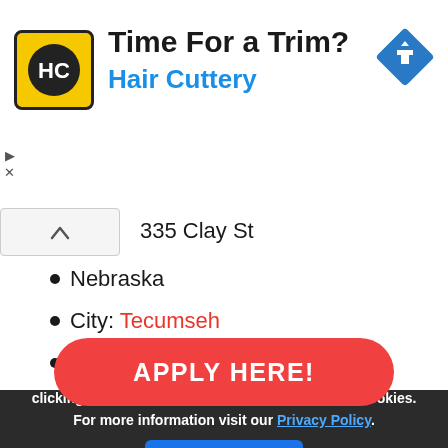[Figure (logo): Hair Cuttery logo: yellow square with HC letters in black circle]
Time For a Trim?
Hair Cuttery
[Figure (other): Blue diamond navigation/directions icon with right-turn arrow]
335 Clay St
Nebraska
City: Tecumseh
Zip code: 68450
APPLY HERE!
This website uses cookies. By continuing to browse or by clicking 'Accept' you consent to our use of these cookies. For more information visit our Privacy Policy.
Accept and close